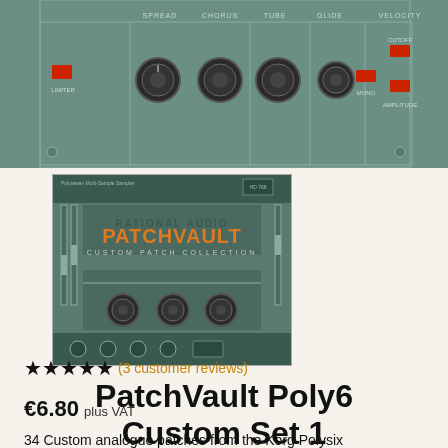[Figure (screenshot): Top portion of a Korg Polysix synthesizer plugin interface showing teal/green panel with knobs labeled SPREAD, CHORUS, TUBE, GLIDE, VELOCITY, plus LIMITER, MONO, CUTOFF, AMPLITUDE buttons]
[Figure (screenshot): Thumbnail screenshot of PatchVault Poly6 plugin interface with orange PatchVault logo text on teal background, with knobs and controls visible]
PatchVault Poly6 Custom Set 1
★★★★★ (3 customer reviews)
€6.80 plus VAT
34 Custom analogue patches from the Korg Polysix